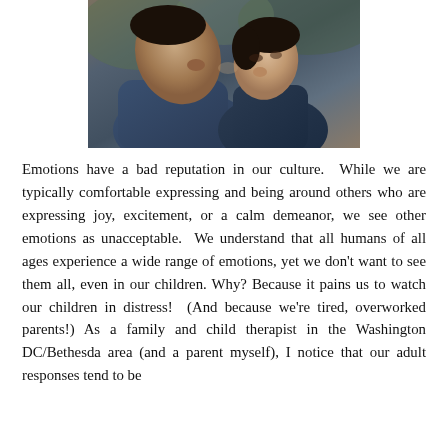[Figure (photo): Close-up photo of an adult and a child facing each other, almost touching noses, sharing an affectionate moment outdoors]
Emotions have a bad reputation in our culture.  While we are typically comfortable expressing and being around others who are expressing joy, excitement, or a calm demeanor, we see other emotions as unacceptable.  We understand that all humans of all ages experience a wide range of emotions, yet we don't want to see them all, even in our children. Why? Because it pains us to watch our children in distress!  (And because we're tired, overworked parents!) As a family and child therapist in the Washington DC/Bethesda area (and a parent myself), I notice that our adult responses tend to be